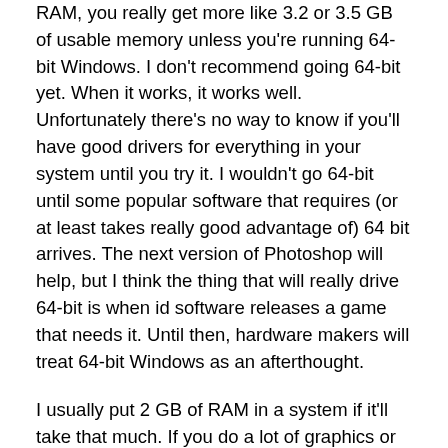RAM, you really get more like 3.2 or 3.5 GB of usable memory unless you're running 64-bit Windows. I don't recommend going 64-bit yet. When it works, it works well. Unfortunately there's no way to know if you'll have good drivers for everything in your system until you try it. I wouldn't go 64-bit until some popular software that requires (or at least takes really good advantage of) 64 bit arrives. The next version of Photoshop will help, but I think the thing that will really drive 64-bit is when id software releases a game that needs it. Until then, hardware makers will treat 64-bit Windows as an afterthought.
I usually put 2 GB of RAM in a system if it'll take that much. If you do a lot of graphics or video work, more is better of course. For routine use, 2 GB is more than adequate, yet affordable. If a system won't take 2 GB, then it makes sense to install as much as it will take, whether that's 1 GB or 512 MB. If a system won't take 512 MB, then it's old enough that it makes sense to start talking replacement.